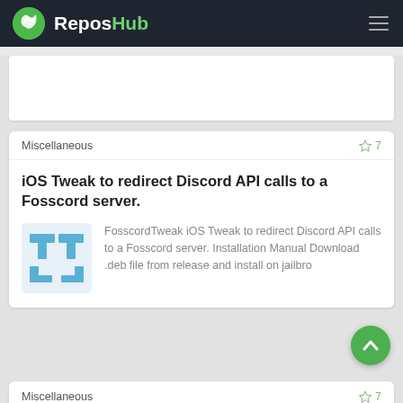ReposHub
Miscellaneous ☆ 7
iOS Tweak to redirect Discord API calls to a Fosscord server.
FosscordTweak iOS Tweak to redirect Discord API calls to a Fosscord server. Installation Manual Download .deb file from release and install on jailbro
Miscellaneous ☆ 7